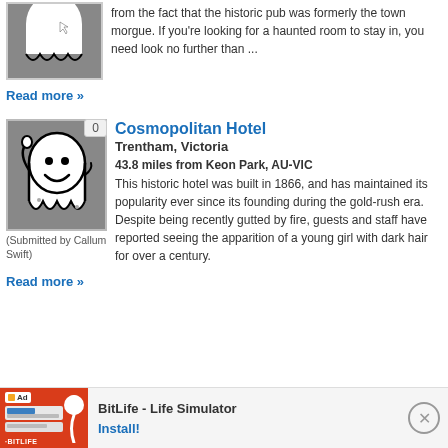[Figure (illustration): Partial ghost image in gray box, top portion visible]
from the fact that the historic pub was formerly the town morgue. If you're looking for a haunted room to stay in, you need look no further than ...
Read more »
[Figure (illustration): White cartoon ghost with smile on gray background, vote badge showing 0]
(Submitted by Callum Swift)
Cosmopolitan Hotel
Trentham, Victoria
43.8 miles from Keon Park, AU-VIC
This historic hotel was built in 1866, and has maintained its popularity ever since its founding during the gold-rush era. Despite being recently gutted by fire, guests and staff have reported seeing the apparition of a young girl with dark hair for over a century.
Read more »
[Figure (screenshot): BitLife - Life Simulator advertisement banner with orange/red background and app icon]
BitLife - Life Simulator
Install!